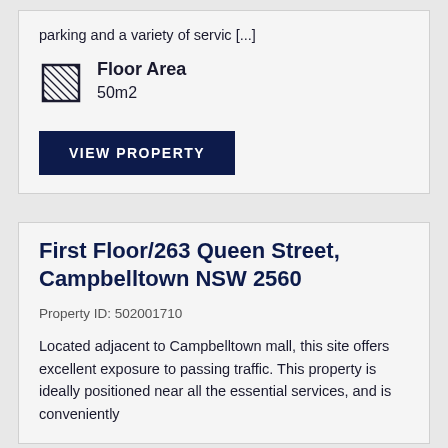parking and a variety of servic [...]
Floor Area
50m2
VIEW PROPERTY
First Floor/263 Queen Street, Campbelltown NSW 2560
Property ID: 502001710
Located adjacent to Campbelltown mall, this site offers excellent exposure to passing traffic. This property is ideally positioned near all the essential services, and is conveniently